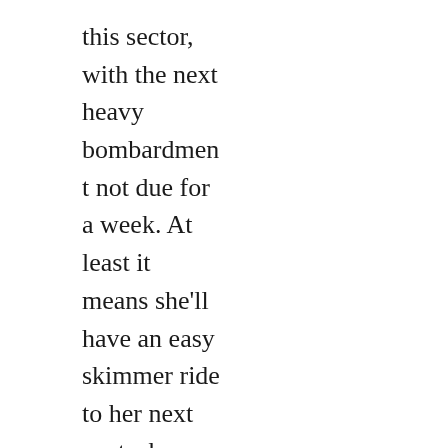this sector, with the next heavy bombardment not due for a week. At least it means she'll have an easy skimmer ride to her next post, she thinks.

“Hey, not